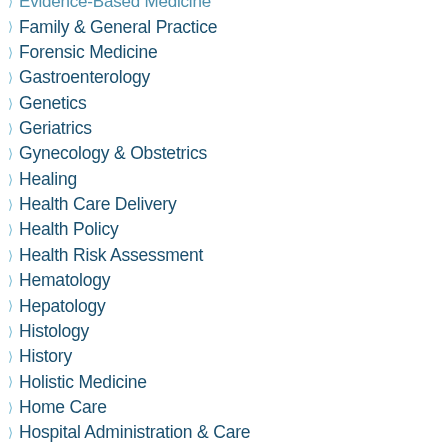Evidence-Based Medicine (partial/cut off)
Family & General Practice
Forensic Medicine
Gastroenterology
Genetics
Geriatrics
Gynecology & Obstetrics
Healing
Health Care Delivery
Health Policy
Health Risk Assessment
Hematology
Hepatology
Histology
History
Holistic Medicine
Home Care
Hospital Administration & Care